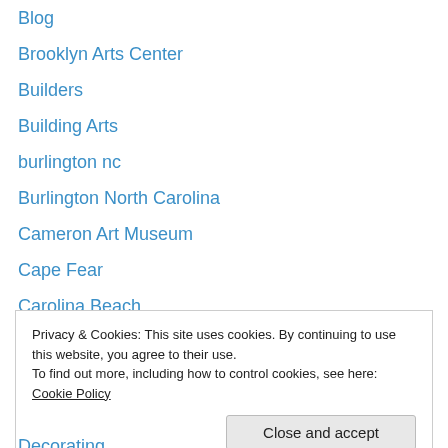Blog
Brooklyn Arts Center
Builders
Building Arts
burlington nc
Burlington North Carolina
Cameron Art Museum
Cape Fear
Carolina Beach
cats
Children
Children's Portraits
Christianity
Privacy & Cookies: This site uses cookies. By continuing to use this website, you agree to their use.
To find out more, including how to control cookies, see here: Cookie Policy
Decorating